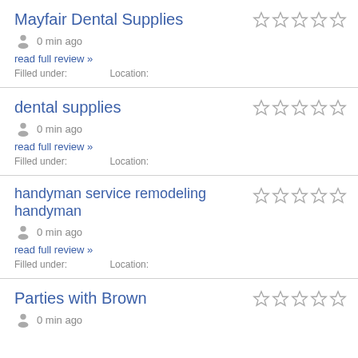Mayfair Dental Supplies
0 min ago
read full review »
Filled under:    Location:
dental supplies
0 min ago
read full review »
Filled under:    Location:
handyman service remodeling handyman
0 min ago
read full review »
Filled under:    Location:
Parties with Brown
0 min ago